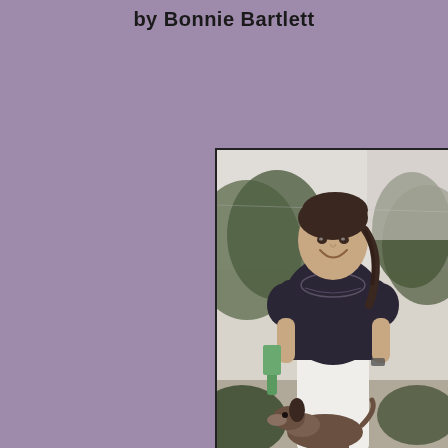by Bonnie Bartlett
[Figure (photo): A smiling woman with dark hair in a braid, wearing a dark navy short-sleeve top and white pants, standing outdoors with trees in the background, holding something green in her left hand, with a dog (appears to be a collie) at her feet/side.]